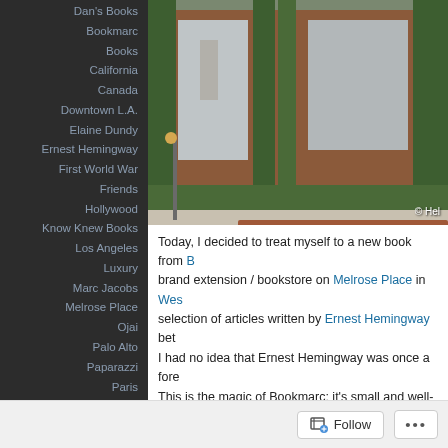Dan's Books
Bookmarc
Books
California
Canada
Downtown L.A.
Elaine Dundy
Ernest Hemingway
First World War
Friends
Hollywood
Know Knew Books
Los Angeles
Luxury
Marc Jacobs
Melrose Place
Ojai
Palo Alto
Paparazzi
Paris
Photography
Ron Galella
Second World War
The Durl Avocado
[Figure (photo): Exterior of a bookstore on Melrose Place with ivy-covered brick walls and large glass windows, sidewalk in foreground. Copyright Hel...]
Today, I decided to treat myself to a new book from B... brand extension / bookstore on Melrose Place in Wes... selection of articles written by Ernest Hemingway bet... I had no idea that Ernest Hemingway was once a fore... This is the magic of Bookmarc: it's small and well-cu...